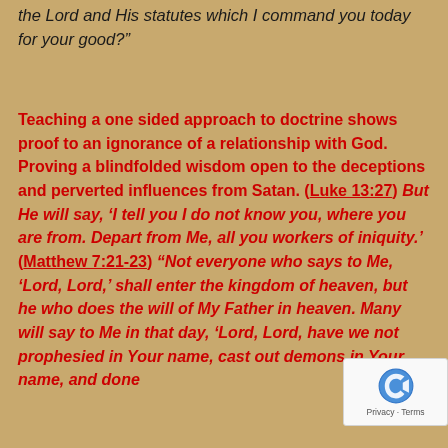the Lord and His statutes which I command you today for your good?"
Teaching a one sided approach to doctrine shows proof to an ignorance of a relationship with God. Proving a blindfolded wisdom open to the deceptions and perverted influences from Satan. (Luke 13:27) But He will say, ‘I tell you I do not know you, where you are from. Depart from Me, all you workers of iniquity.’ (Matthew 7:21-23) “Not everyone who says to Me, ‘Lord, Lord,’ shall enter the kingdom of heaven, but he who does the will of My Father in heaven. Many will say to Me in that day, ‘Lord, Lord, have we not prophesied in Your name, cast out demons in Your name, and done